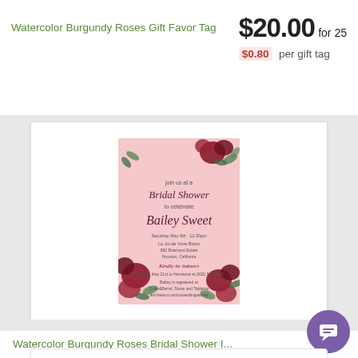Watercolor Burgundy Roses Gift Favor Tag
$20.00 for 25
$0.80 per gift tag
[Figure (illustration): Bridal shower invitation with watercolor burgundy roses border on pink background, cursive text reading 'Bridal Shower to celebrate Bailey Sweet']
Watercolor Burgundy Roses Bridal Shower I...
$18.00 for 10
$1.80 per flat card